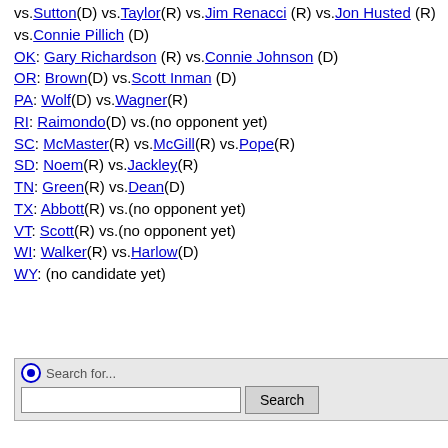vs.Sutton(D) vs.Taylor(R) vs.Jim Renacci (R) vs.Jon Husted (R) vs.Connie Pillich (D) OK: Gary Richardson (R) vs.Connie Johnson (D) OR: Brown(D) vs.Scott Inman (D) PA: Wolf(D) vs.Wagner(R) RI: Raimondo(D) vs.(no opponent yet) SC: McMaster(R) vs.McGill(R) vs.Pope(R) SD: Noem(R) vs.Jackley(R) TN: Green(R) vs.Dean(D) TX: Abbott(R) vs.(no opponent yet) VT: Scott(R) vs.(no opponent yet) WI: Walker(R) vs.Harlow(D) WY: (no candidate yet)
[Figure (screenshot): Search widget with radio button, text input field, and Search button]